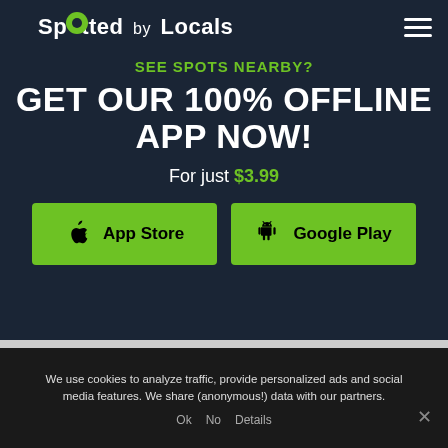[Figure (logo): Spotted by Locals logo with green dot in the letter 'o' and hamburger menu icon]
SEE SPOTS NEARBY?
GET OUR 100% OFFLINE APP NOW!
For just $3.99
[Figure (infographic): Two green buttons: App Store (with Apple icon) and Google Play (with Android icon)]
We use cookies to analyze traffic, provide personalized ads and social media features. We share (anonymous!) data with our partners.
Ok  No  Details